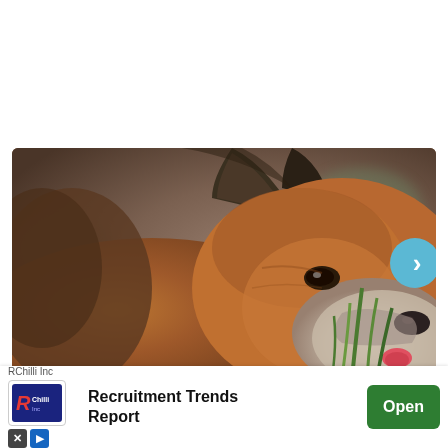[Figure (photo): Close-up photo of a brown and tan dog sniffing or eating grass, with blurred natural background. Dog has pointed ears, tan/orange fur with grey-white muzzle, tongue slightly visible near green grass blades.]
Why Does My Dog Eat Grass?
Have you ever wondered why your dog eats grass?
[Figure (screenshot): Advertisement banner: RChilli Inc logo on left, text 'Recruitment Trends Report' in center, green 'Open' button on right.]